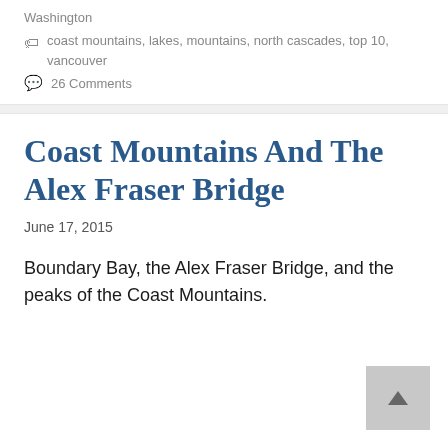Washington
coast mountains, lakes, mountains, north cascades, top 10, vancouver
26 Comments
Coast Mountains And The Alex Fraser Bridge
June 17, 2015
Boundary Bay, the Alex Fraser Bridge, and the peaks of the Coast Mountains.